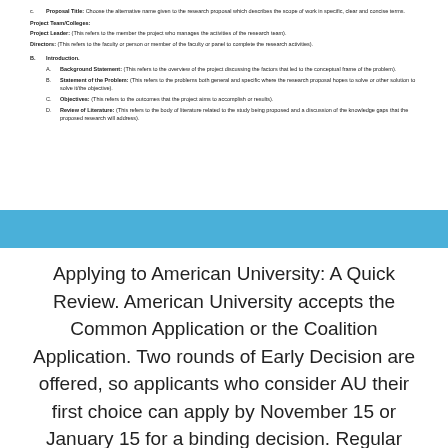c. Proposal Title: Choose the alternative name given to the research proposal which describes the scope of work in specific, clear and concise terms.
Project Team/Colleges:
Project Leader: (This refers to the member the project who manages the activities of the research team).
Directors: (This refers to the faculty or person or member of the faculty or panel to complete the research activities).
B. Introduction.
A. Background Statement: (This refers to the overview of the project discussing the factors that led to the conceptual frame of the problem).
B. Statement of the Problem: (This refers to the problems both general and specific where the research proposal hopes to solve or other solution to solve it/the objective).
C. Objectives: (This refers to the outcomes that the project aims to accomplish or results).
D. Review of Literature: (This refers to the body of literature related to the study being proposed and a discussion of the knowledge gaps that the proposed research will address).
Applying to American University: A Quick Review. American University accepts the Common Application or the Coalition Application. Two rounds of Early Decision are offered, so applicants who consider AU their first choice can apply by November 15 or January 15 for a binding decision. Regular Decision applications are also due by January 15.